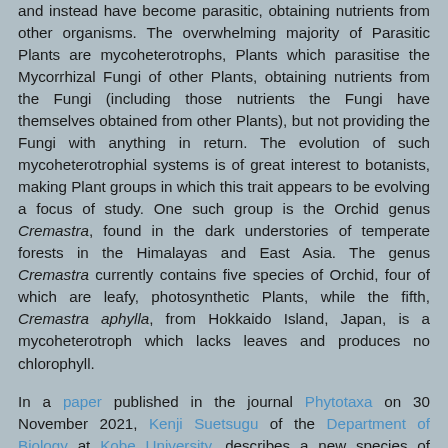and instead have become parasitic, obtaining nutrients from other organisms. The overwhelming majority of Parasitic Plants are mycoheterotrophs, Plants which parasitise the Mycorrhizal Fungi of other Plants, obtaining nutrients from the Fungi (including those nutrients the Fungi have themselves obtained from other Plants), but not providing the Fungi with anything in return. The evolution of such mycoheterotrophial systems is of great interest to botanists, making Plant groups in which this trait appears to be evolving a focus of study. One such group is the Orchid genus Cremastra, found in the dark understories of temperate forests in the Himalayas and East Asia. The genus Cremastra currently contains five species of Orchid, four of which are leafy, photosynthetic Plants, while the fifth, Cremastra aphylla, from Hokkaido Island, Japan, is a mycoheterotroph which lacks leaves and produces no chlorophyll.
In a paper published in the journal Phytotaxa on 30 November 2021, Kenji Suetsugu of the Department of Biology at Kobe University, describes a new species of Cremastra from Gifu Prefecture in central Honshu, Japan.